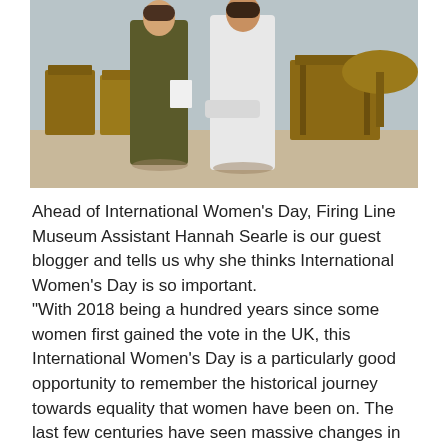[Figure (photo): Two people standing outdoors in period/historical costumes — one in a dark olive/khaki long coat and the other in a white long dress/robe. Wooden garden chairs and tables visible in the background on a sunny day.]
Ahead of International Women's Day, Firing Line Museum Assistant Hannah Searle is our guest blogger and tells us why she thinks International Women's Day is so important.
“With 2018 being a hundred years since some women first gained the vote in the UK, this International Women’s Day is a particularly good opportunity to remember the historical journey towards equality that women have been on. The last few centuries have seen massive changes in women’s roles socially and politically, as women have largely moved away from